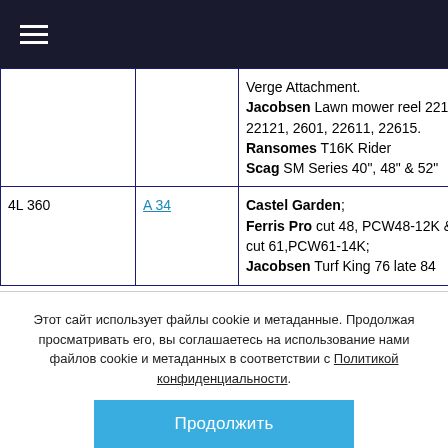≡
|  |  | Verge Attachment.
Jacobsen Lawn mower reel 22114, 22121, 2601, 22611, 22615.
Ransomes T16K Rider
Scag SM Series 40", 48" & 52" |
| 4L 360 | A 34 | Castel Garden;
Ferris Pro cut 48, PCW48-12K & Pro cut 61,PCW61-14K;
Jacobsen Turf King 76 late 84 |
Этот сайт использует файлы cookie и метаданные. Продолжая просматривать его, вы соглашаетесь на использование нами файлов cookie и метаданных в соответствии с Политикой конфиденциальности.
Продолжить